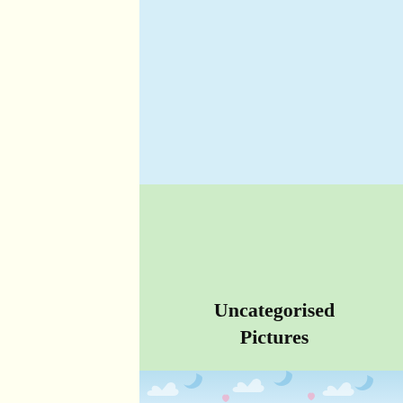Uncategorised Pictures
Weddings........We had 2 within 3 weeks in 2007!
[Figure (photo): Two teddy bears dressed as bride and groom]
[Figure (illustration): Blue sky with clouds, hearts and moon pattern background strip]